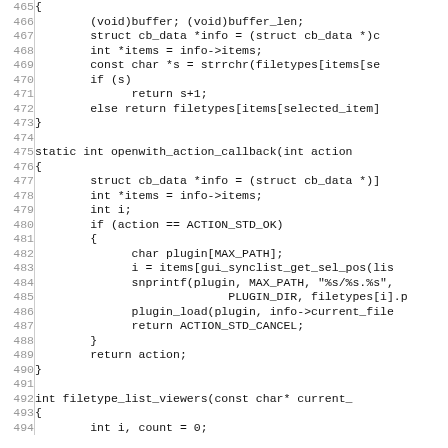Source code listing, lines 465–494, C code for openwith plugin callbacks and filetype_list_viewers function.